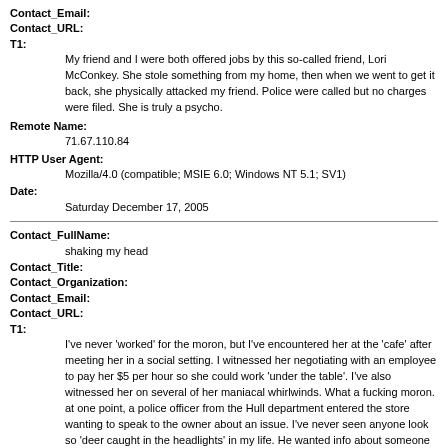Contact_Email:
Contact_URL:
T1: My friend and I were both offered jobs by this so-called friend, Lori McConkey. She stole something from my home, then when we went to get it back, she physically attacked my friend. Police were called but no charges were filed. She is truly a psycho.
Remote Name: 71.67.110.84
HTTP User Agent: Mozilla/4.0 (compatible; MSIE 6.0; Windows NT 5.1; SV1)
Date: Saturday December 17, 2005
Contact_FullName: shaking my head
Contact_Title:
Contact_Organization:
Contact_Email:
Contact_URL:
T1: I've never 'worked' for the moron, but I've encountered her at the 'cafe' after meeting her in a social setting. I witnessed her negotiating with an employee to pay her $5 per hour so she could work 'under the table'. I've also witnessed her on several of her maniacal whirlwinds. What a fucking moron. at one point, a police officer from the Hull department entered the store wanting to speak to the owner about an issue. I've never seen anyone look so 'deer caught in the headlights' in my life. He wanted info about someone who might have used the computers in the cafe. The guilty look on Lori's face screamed 'put the cuffs on me, I'm 100% guilty'. I wondered what she was feeling guilty about. As for